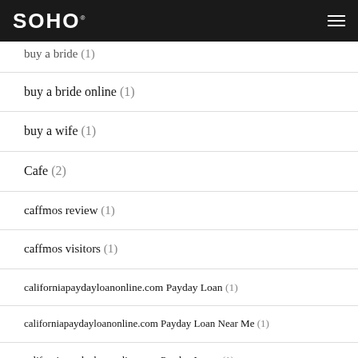SOHO
buy a bride (1)
buy a bride online (1)
buy a wife (1)
Cafe (2)
caffmos review (1)
caffmos visitors (1)
californiapaydayloanonline.com Payday Loan (1)
californiapaydayloanonline.com Payday Loan Near Me (1)
californiapaydayloanonline.com Payday Loans (1)